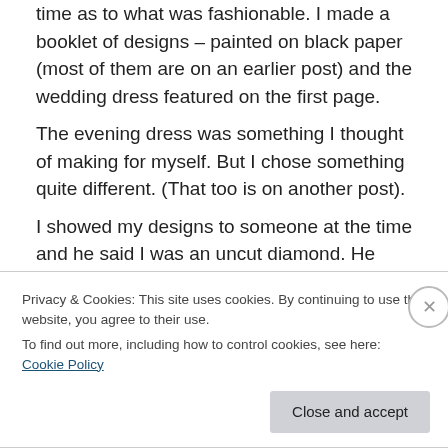time as to what was fashionable. I made a booklet of designs – painted on black paper (most of them are on an earlier post) and the wedding dress featured on the first page.
The evening dress was something I thought of making for myself. But I chose something quite different. (That too is on another post).
I showed my designs to someone at the time and he said I was an uncut diamond. He was right. I did not move in the right circles and had to find my way to improve and succeed. But my ideas went down okay at the firm where I
Privacy & Cookies: This site uses cookies. By continuing to use this website, you agree to their use.
To find out more, including how to control cookies, see here: Cookie Policy